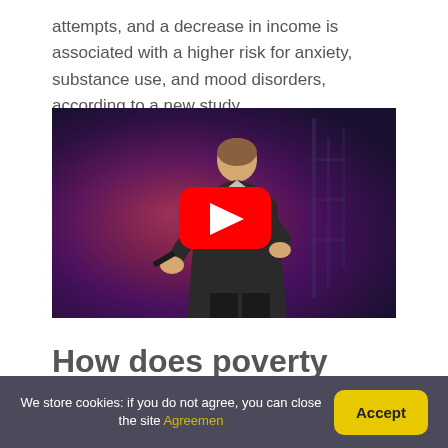attempts, and a decrease in income is associated with a higher risk for anxiety, substance use, and mood disorders, according to a new study.
[Figure (photo): Video thumbnail showing a man in a dark suit speaking on a stage with purple/red lighting background, with a YouTube play button overlay]
How does poverty affect behavior?
We store cookies: if you do not agree, you can close the site Agreemen